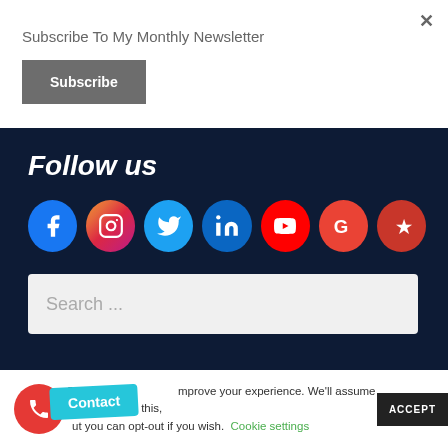Subscribe To My Monthly Newsletter
Subscribe
Follow us
[Figure (infographic): Social media icons: Facebook, Instagram, Twitter, LinkedIn, YouTube, Google, Yelp]
[Figure (screenshot): Search bar with placeholder text 'Search ...']
This [site uses cookies to] improve your experience. We'll assume you're ok with this, [b]ut you can opt-out if you wish.
Cookie settings
ACCEPT
[Figure (infographic): Red phone contact button and cyan Contact badge]
Contact